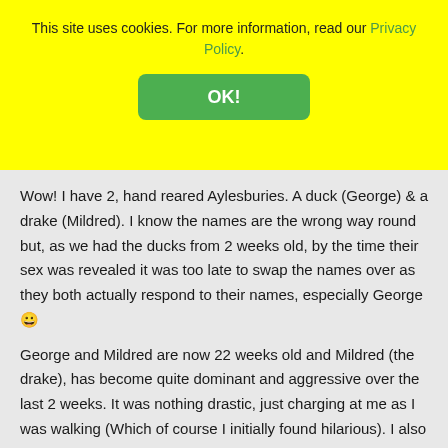This site uses cookies. For more information, read our Privacy Policy.
Wow! I have 2, hand reared Aylesburies. A duck (George) & a drake (Mildred). I know the names are the wrong way round but, as we had the ducks from 2 weeks old, by the time their sex was revealed it was too late to swap the names over as they both actually respond to their names, especially George 😀
George and Mildred are now 22 weeks old and Mildred (the drake), has become quite dominant and aggressive over the last 2 weeks. It was nothing drastic, just charging at me as I was walking (Which of course I initially found hilarious). I also noticed that some of my footwear choices made this worse (Ugg boots were a big NO!
Things came to a head a couple of days ago when I was returning home from work. As I came through the back and...